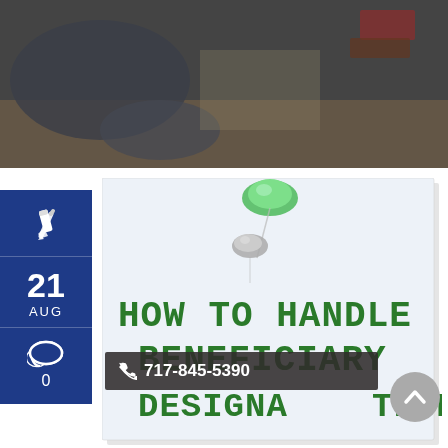[Figure (photo): Top portion of a person working at a desk, dark overhead photo, desk surface visible at bottom]
[Figure (illustration): Blue sidebar box with pencil icon, date 21 AUG, and comment count 0]
[Figure (photo): White note card pinned with a green pushpin and a gray pushpin, text reads HOW TO HANDLE BENEFICIARY DESIGNATION in green handwritten capital letters]
21
AUG
0
HOW TO HANDLE BENEFICIARY DESIGNATION
717-845-5390